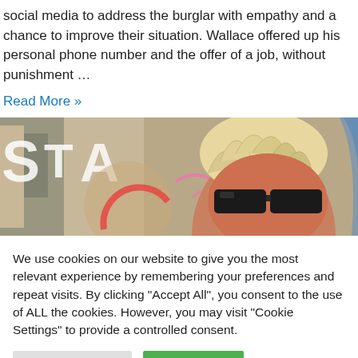social media to address the burglar with empathy and a chance to improve their situation. Wallace offered up his personal phone number and the offer of a job, without punishment …
Read More »
[Figure (photo): Close-up photo of a person with spiky bleached blond hair and dark sunglasses, standing in front of a colorful sign with partial letters visible (STA...), with pink and red graphic elements in the background.]
We use cookies on our website to give you the most relevant experience by remembering your preferences and repeat visits. By clicking "Accept All", you consent to the use of ALL the cookies. However, you may visit "Cookie Settings" to provide a controlled consent.